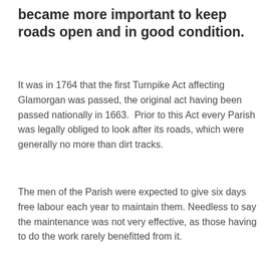became more important to keep roads open and in good condition.
It was in 1764 that the first Turnpike Act affecting Glamorgan was passed, the original act having been passed nationally in 1663.  Prior to this Act every Parish was legally obliged to look after its roads, which were generally no more than dirt tracks.
The men of the Parish were expected to give six days free labour each year to maintain them. Needless to say the maintenance was not very effective, as those having to do the work rarely benefitted from it.